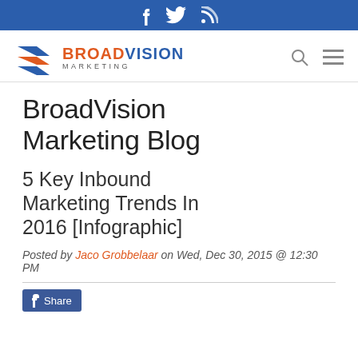Social icons: Facebook, Twitter, RSS
[Figure (logo): BroadVision Marketing logo with stylized chevron/arrow icon in blue and orange, company name in blue and orange]
BroadVision Marketing Blog
5 Key Inbound Marketing Trends In 2016 [Infographic]
Posted by Jaco Grobbelaar on Wed, Dec 30, 2015 @ 12:30 PM